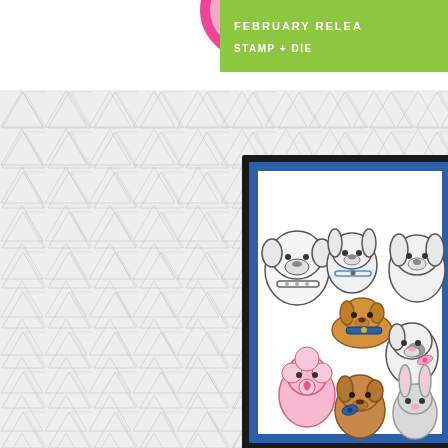[Figure (illustration): Partial green banner with white text reading 'FEBRUARY RELEA...' (February Release), with a pink circle partially visible on the left edge. This appears to be a craft/stamp company product release banner.]
[Figure (photo): A crafting card or art piece showing cute cartoon-style dogs and animals. The artwork features a group of illustrated dogs including a bulldog, poodle (pink), dachshund (tan/brown with blue collar), a spotted dog, and rabbits/cats, some colored and some in black-and-white outline only. The piece is mounted with a blue mat and black frame, displayed against a white/light gray embossed triangle-patterned background paper.]